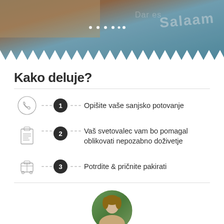[Figure (photo): Top banner photo showing travel-related imagery with blurred text 'Dar es Salaam' visible, dots pagination indicator overlay]
Kako deluje?
1  Opišite vaše sanjsko potovanje
2  Vaš svetovalec vam bo pomagal oblikovati nepozabno doživetje
3  Potrdite & pričnite pakirati
[Figure (photo): Circular profile photo of a man with medium-length hair, cropped at bottom of page]